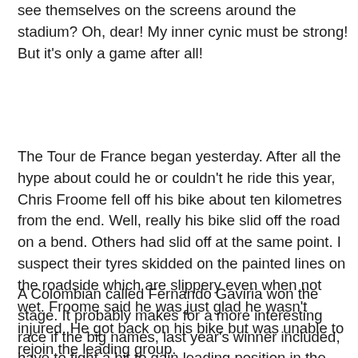see themselves on the screens around the stadium? Oh, dear! My inner cynic must be strong! But it's only a game after all!
The Tour de France began yesterday. After all the hype about could he or couldn't he ride this year, Chris Froome fell off his bike about ten kilometres from the end. Well, really his bike slid off the road on a bend. Others had slid off at the same point. I suspect their tyres skidded on the painted lines on the roadside which are slippery even when not wet. Froome said he was just glad he wasn't injured. He got back on his bike but was unable to rejoin the leading group.
A Colombian called Fernando Gaviria won the stage. It probably makes for a more interesting race if the big names, last year's winner included, have to fight a bit to gain leading position in the new race. A little bit of interesting jockeying for position to look forward to.
Meanwhile the bullrunning in Pamplona has also got off to a start with the usual set of injuries. Five people have been hurt, at least one of them gored by the bulls' horns. The bulls